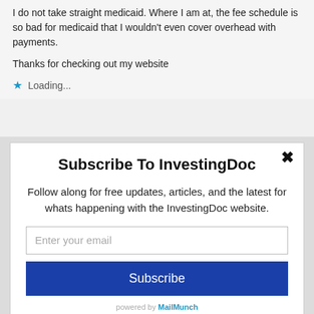I do not take straight medicaid. Where I am at, the fee schedule is so bad for medicaid that I wouldn't even cover overhead with payments.
Thanks for checking out my website
★ Loading...
Subscribe To InvestingDoc
Follow along for free updates, articles, and the latest for whats happening with the InvestingDoc website.
Enter your email
Subscribe
powered by MailMunch